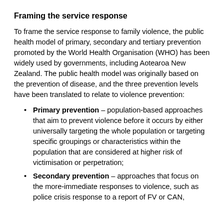Framing the service response
To frame the service response to family violence, the public health model of primary, secondary and tertiary prevention promoted by the World Health Organisation (WHO) has been widely used by governments, including Aotearoa New Zealand. The public health model was originally based on the prevention of disease, and the three prevention levels have been translated to relate to violence prevention:
Primary prevention – population-based approaches that aim to prevent violence before it occurs by either universally targeting the whole population or targeting specific groupings or characteristics within the population that are considered at higher risk of victimisation or perpetration;
Secondary prevention – approaches that focus on the more-immediate responses to violence, such as police crisis response to a report of FV or CAN,